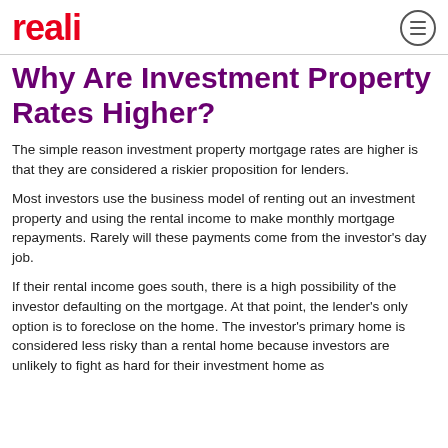reali
Why Are Investment Property Rates Higher?
The simple reason investment property mortgage rates are higher is that they are considered a riskier proposition for lenders.
Most investors use the business model of renting out an investment property and using the rental income to make monthly mortgage repayments. Rarely will these payments come from the investor's day job.
If their rental income goes south, there is a high possibility of the investor defaulting on the mortgage. At that point, the lender's only option is to foreclose on the home. The investor's primary home is considered less risky than a rental home because investors are unlikely to fight as hard for their investment home as